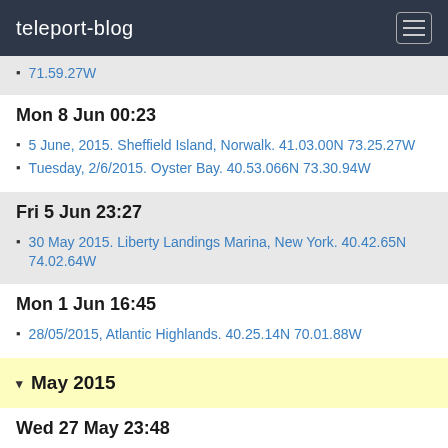teleport-blog
71.59.27W
Mon 8 Jun 00:23
5 June, 2015. Sheffield Island, Norwalk. 41.03.00N 73.25.27W
Tuesday, 2/6/2015. Oyster Bay. 40.53.066N 73.30.94W
Fri 5 Jun 23:27
30 May 2015. Liberty Landings Marina, New York. 40.42.65N 74.02.64W
Mon 1 Jun 16:45
28/05/2015, Atlantic Highlands. 40.25.14N 70.01.88W
May 2015
Wed 27 May 23:48
23 May 2015, The Pilot House Marina, Norfolk, Virginia. 36.51.15N 76.17.90W
Sat 23 May 18:24
Thursday, 14/5/2015. Beaufort, North Carolina. 34.42.93N 76.39.84W